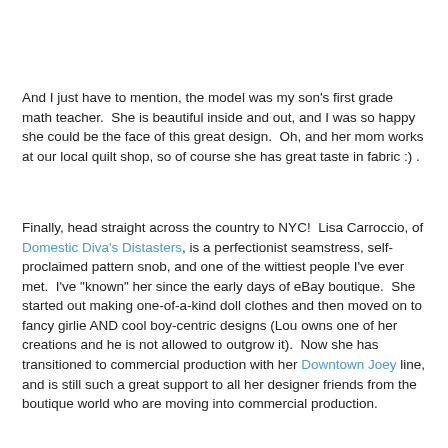And I just have to mention, the model was my son's first grade math teacher.  She is beautiful inside and out, and I was so happy she could be the face of this great design.  Oh, and her mom works at our local quilt shop, so of course she has great taste in fabric :) .
Finally, head straight across the country to NYC!  Lisa Carroccio, of Domestic Diva's Distasters, is a perfectionist seamstress, self-proclaimed pattern snob, and one of the wittiest people I've ever met.  I've "known" her since the early days of eBay boutique.  She started out making one-of-a-kind doll clothes and then moved on to fancy girlie AND cool boy-centric designs (Lou owns one of her creations and he is not allowed to outgrow it).  Now she has transitioned to commercial production with her Downtown Joey line, and is still such a great support to all her designer friends from the boutique world who are moving into commercial production.